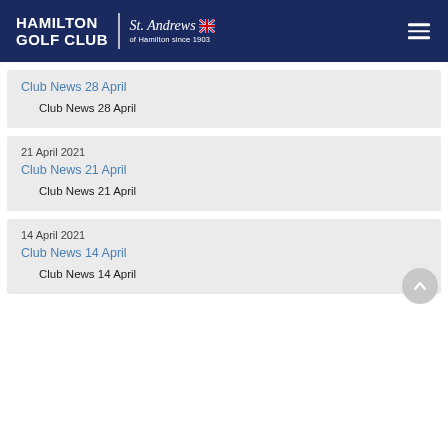HAMILTON GOLF CLUB | St. Andrews of Hamilton since 1903
Club News 28 April
Club News 28 April
21 April 2021
Club News 21 April
Club News 21 April
14 April 2021
Club News 14 April
Club News 14 April